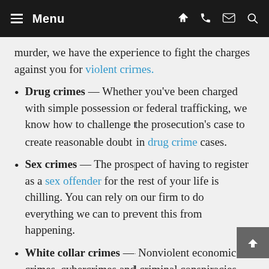Menu
murder, we have the experience to fight the charges against you for violent crimes.
Drug crimes — Whether you've been charged with simple possession or federal trafficking, we know how to challenge the prosecution's case to create reasonable doubt in drug crime cases.
Sex crimes — The prospect of having to register as a sex offender for the rest of your life is chilling. You can rely on our firm to do everything we can to prevent this from happening.
White collar crimes — Nonviolent economic crimes, cybercrimes and criminal conspiracies garner aggressive prosecution. We match the authorities' determination and resources every step of the way in cases involving white